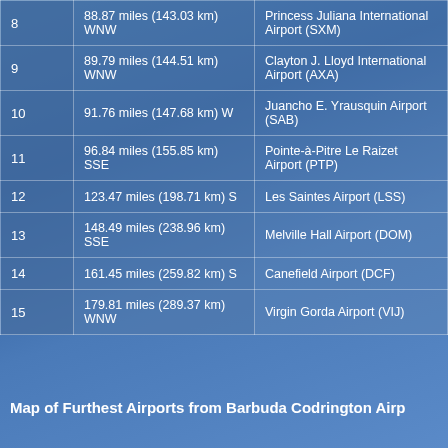| # | Distance | Airport |
| --- | --- | --- |
| 8 | 88.87 miles (143.03 km) WNW | Princess Juliana International Airport (SXM) |
| 9 | 89.79 miles (144.51 km) WNW | Clayton J. Lloyd International Airport (AXA) |
| 10 | 91.76 miles (147.68 km) W | Juancho E. Yrausquin Airport (SAB) |
| 11 | 96.84 miles (155.85 km) SSE | Pointe-à-Pitre Le Raizet Airport (PTP) |
| 12 | 123.47 miles (198.71 km) S | Les Saintes Airport (LSS) |
| 13 | 148.49 miles (238.96 km) SSE | Melville Hall Airport (DOM) |
| 14 | 161.45 miles (259.82 km) S | Canefield Airport (DCF) |
| 15 | 179.81 miles (289.37 km) WNW | Virgin Gorda Airport (VIJ) |
Map of Furthest Airports from Barbuda Codrington Airp